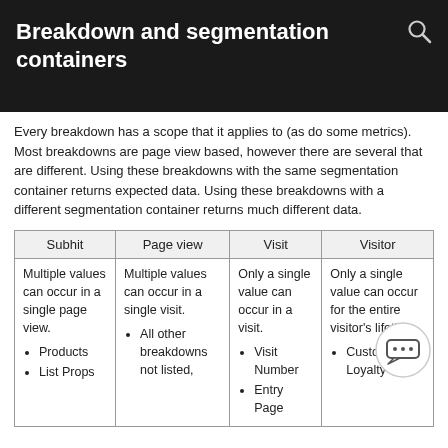Breakdown and segmentation containers
Every breakdown has a scope that it applies to (as do some metrics). Most breakdowns are page view based, however there are several that are different. Using these breakdowns with the same segmentation container returns expected data. Using these breakdowns with a different segmentation container returns much different data.
| Subhit | Page view | Visit | Visitor |
| --- | --- | --- | --- |
| Multiple values can occur in a single page view.
• Products
• List Props | Multiple values can occur in a single visit.
• All other breakdowns not listed, | Only a single value can occur in a visit.
• Visit Number
• Entry Page | Only a single value can occur for the entire visitor's lifetime.
• Customer Loyalty |